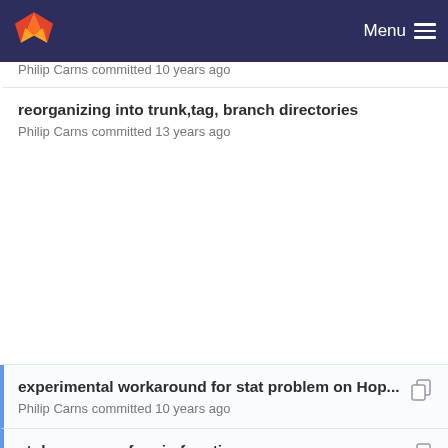Menu
Philip Carns committed 10 years ago
reorganizing into trunk,tag, branch directories
Philip Carns committed 13 years ago
experimental workaround for stat problem on Hop...
Philip Carns committed 10 years ago
stub wrappers for aio functions
Philip Carns committed 9 years ago